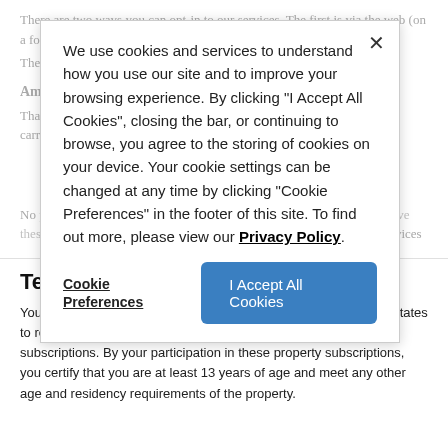There are two ways you can opt-in to our services. The first is via the web (on a form).
The second is by texting a keyword to the shortcode 31378.
Am I being charged for these messages?
That depends on the standard SMS rate plan you have setup with your carrier/provider.
We use cookies and services to understand how you use our site and to improve your browsing experience. By clicking "I Accept All Cookies", closing the bar, or continuing to browse, you agree to the storing of cookies on your device. Your cookie settings can be changed at any time by clicking "Cookie Preferences" in the footer of this site. To find out more, please view our Privacy Policy.
Cookie Preferences
I Accept All Cookies
No property involved in these messages is directed to, nor wants to receive these messages. However, standard messaging rates do apply for our services
Terms and Conditions
You must be 13 years or older and a legal resident of the United States to receive/send text messages in affiliation with any of these subscriptions. By your participation in these property subscriptions, you certify that you are at least 13 years of age and meet any other age and residency requirements of the property.